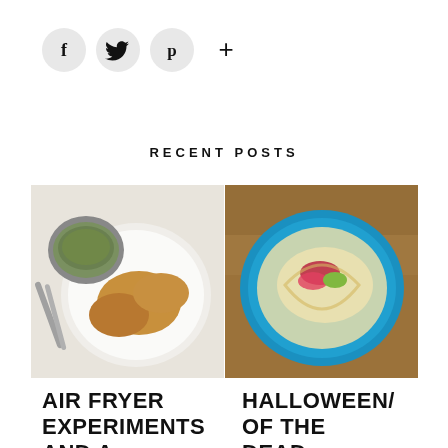[Figure (other): Row of four social media icons: Facebook (f), Twitter (bird), Pinterest (P), and a plus sign (+). First three are inside light gray circles.]
RECENT POSTS
[Figure (photo): Food photo: fried chicken pieces on a white plate with a bowl of grain salad and serving spoons, top-down view on white surface.]
[Figure (photo): Food photo: taco or wrap on a blue plate with sliced vegetables, overhead view on wooden surface.]
AIR FRYER EXPERIMENTS AND A RECIPE
HALLOWEEN/A OF THE DEAD SUPPER CLUB